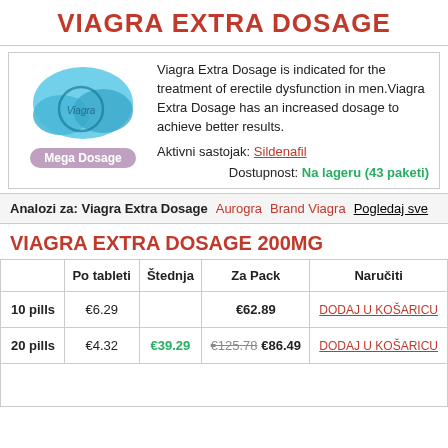VIAGRA EXTRA DOSAGE
Viagra Extra Dosage is indicated for the treatment of erectile dysfunction in men.Viagra Extra Dosage has an increased dosage to achieve better results.
Aktivni sastojak: Sildenafil
Dostupnost: Na lageru (43 paketi)
Analozi za: Viagra Extra Dosage  Aurogra  Brand Viagra  Pogledaj sve
VIAGRA EXTRA DOSAGE 200MG
|  | Po tableti | Štednja | Za Pack | Naručiti |
| --- | --- | --- | --- | --- |
| 10 pills | €6.29 |  | €62.89 | DODAJ U KOŠARICU |
| 20 pills | €4.32 | €39.29 | €125.78 €86.49 | DODAJ U KOŠARICU |